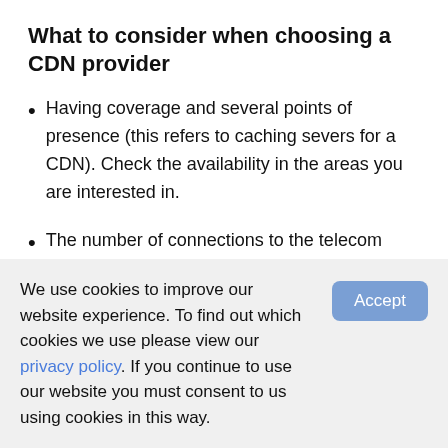What to consider when choosing a CDN provider
Having coverage and several points of presence (this refers to caching severs for a CDN). Check the availability in the areas you are interested in.
The number of connections to the telecom operators. The number of connections also affects the speed and uninterrupted data transfer to the
We use cookies to improve our website experience. To find out which cookies we use please view our privacy policy. If you continue to use our website you must consent to us using cookies in this way.